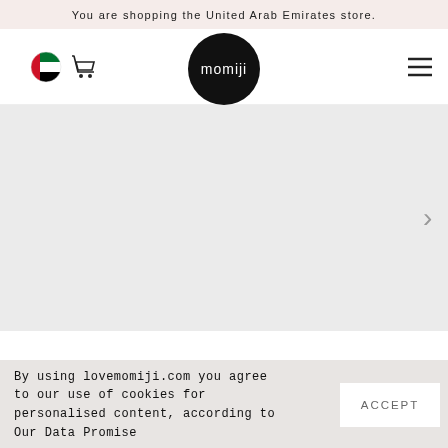You are shopping the United Arab Emirates store.
[Figure (logo): Momiji brand logo — white text 'momiji' on black circle, with UAE flag icon and cart icon in top navigation bar]
[Figure (screenshot): Grey hero/slideshow area with right chevron navigation arrow]
By using lovemomiji.com you agree to our use of cookies for personalised content, according to Our Data Promise